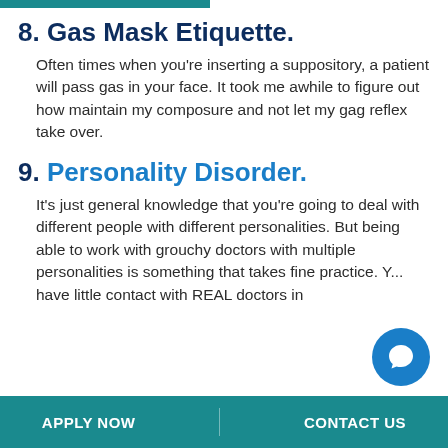8. Gas Mask Etiquette.
Often times when you're inserting a suppository, a patient will pass gas in your face. It took me awhile to figure out how maintain my composure and not let my gag reflex take over.
9. Personality Disorder.
It's just general knowledge that you're going to deal with different people with different personalities. But being able to work with grouchy doctors with multiple personalities is something that takes fine practice. Y... have little contact with REAL doctors in
APPLY NOW   CONTACT US